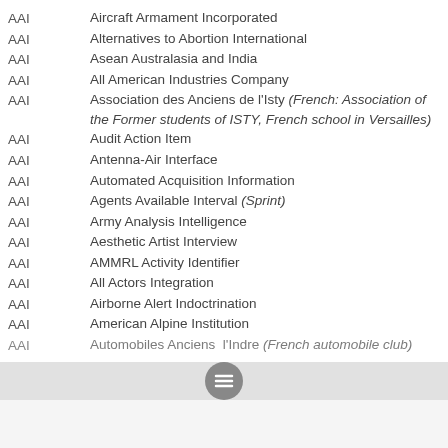AAI — Aircraft Armament Incorporated
AAI — Alternatives to Abortion International
AAI — Asean Australasia and India
AAI — All American Industries Company
AAI — Association des Anciens de l'Isty (French: Association of the Former students of ISTY, French school in Versailles)
AAI — Audit Action Item
AAI — Antenna-Air Interface
AAI — Automated Acquisition Information
AAI — Agents Available Interval (Sprint)
AAI — Army Analysis Intelligence
AAI — Aesthetic Artist Interview
AAI — AMMRL Activity Identifier
AAI — All Actors Integration
AAI — Airborne Alert Indoctrination
AAI — American Alpine Institution
AAI — Automobiles Anciens … l'Indre (French automobile club)